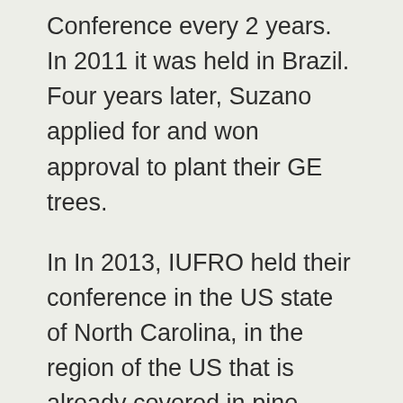Conference every 2 years. In 2011 it was held in Brazil. Four years later, Suzano applied for and won approval to plant their GE trees.
In In 2013, IUFRO held their conference in the US state of North Carolina, in the region of the US that is already covered in pine plantations and where transgenic trees are being developed. There were 5 days of non-stop protest and disruption of this conference. Hundreds of people